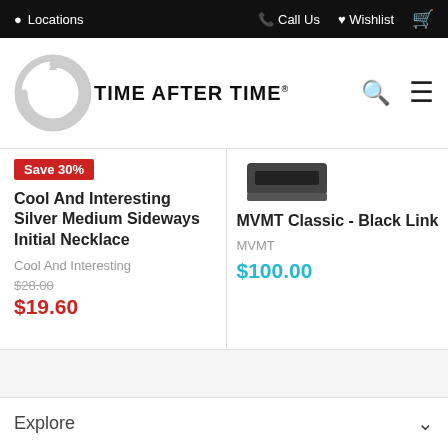Locations   Call Us   Wishlist
[Figure (logo): Time After Time logo with circular clock graphic]
[Figure (photo): Product image area - partial watch image on right side]
Save 30%
Cool And Interesting Silver Medium Sideways Initial Necklace
Cool And Interesting
$28.00
$19.60
MVMT Classic - Black Link
MVMT
$100.00
Explore